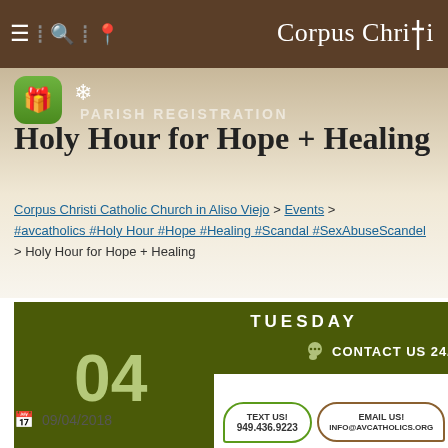Corpus Christi
Holy Hour for Hope + Healing
PARISH REGISTRATION
Corpus Christi Catholic Church in Aliso Viejo > Events > #avcatholics #Holy Hour #Hope #Healing #Scandal #SexAbuseScandel > Holy Hour for Hope + Healing
[Figure (screenshot): Green calendar block showing TUESDAY, 04, SEPTEMBER, 2018 with a Contact Us 24/7 overlay popup showing TEXT US 949.436.9223 and EMAIL US INFO@AVCATHOLICS.ORG]
09/04/2018